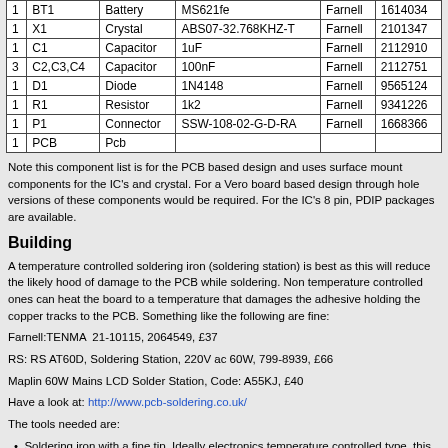| Qty | Reference | Type | Value | Supplier | Part No |
| --- | --- | --- | --- | --- | --- |
| 1 | BT1 | Battery | MS621fe | Farnell | 1614034 |
| 1 | X1 | Crystal | ABS07-32.768KHZ-T | Farnell | 2101347 |
| 1 | C1 | Capacitor | 1uF | Farnell | 2112910 |
| 3 | C2,C3,C4 | Capacitor | 100nF | Farnell | 2112751 |
| 1 | D1 | Diode | 1N4148 | Farnell | 9565124 |
| 1 | R1 | Resistor | 1k2 | Farnell | 9341226 |
| 1 | P1 | Connector | SSW-108-02-G-D-RA | Farnell | 1668366 |
| 1 | PCB | Pcb |  |  |  |
Note this component list is for the PCB based design and uses surface mount components for the IC's and crystal. For a Vero board based design through hole versions of these components would be required. For the IC's 8 pin, PDIP packages are available.
Building
A temperature controlled soldering iron (soldering station) is best as this will reduce the likely hood of damage to the PCB while soldering. Non temperature controlled ones can heat the board to a temperature that damages the adhesive holding the copper tracks to the PCB. Something like the following are fine:
Farnell:TENMA  21-10115, 2064549, £37
RS: RS AT60D, Soldering Station, 220V ac 60W, 799-8939, £66
Maplin 60W Mains LCD Solder Station, Code: A55KJ, £40
Have a look at: http://www.pcb-soldering.co.uk/
The tools needed are:
Soldering iron with a fine tip. Ideally electronics temperature controlled type, this will reduce the likely hood of damage to the PCB.